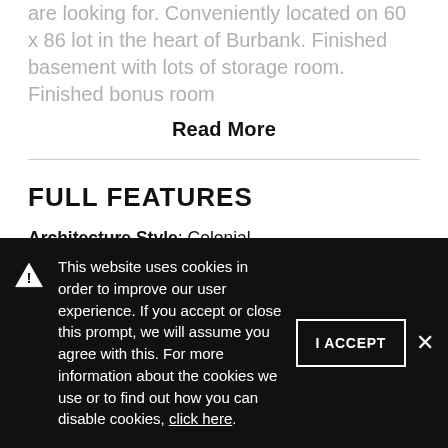are looking for. Conveniently located on 60 x 86 lot in the heart of Burbank. Finished basement with lots of storage room. Finished bonus room
Read More
FULL FEATURES
Architecture Style: Colonial
Exterior Type: Aluminum Siding,Brick
Basement: Finished
Beds Above Grade: 6
Cooling System: Central Air
This website uses cookies in order to improve our user experience. If you accept or close this prompt, we will assume you agree with this. For more information about the cookies we use or to find out how you can disable cookies, click here.